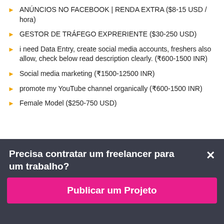ANÚNCIOS NO FACEBOOK | RENDA EXTRA ($8-15 USD / hora)
GESTOR DE TRÁFEGO EXPRERIENTE ($30-250 USD)
i need Data Entry, create social media accounts, freshers also allow, check below read description clearly. (₹600-1500 INR)
Social media marketing (₹1500-12500 INR)
promote my YouTube channel organically (₹600-1500 INR)
Female Model ($250-750 USD)
Precisa contratar um freelancer para um trabalho?
Publicar um Projeto